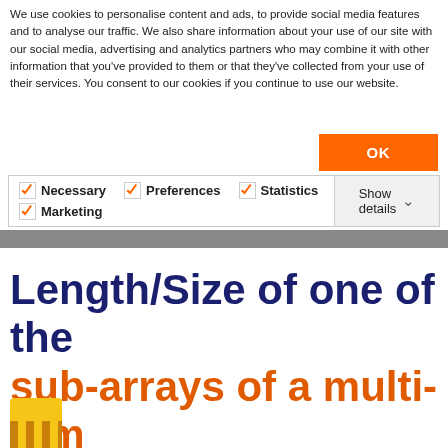We use cookies to personalise content and ads, to provide social media features and to analyse our traffic. We also share information about your use of our site with our social media, advertising and analytics partners who may combine it with other information that you've provided to them or that they've collected from your use of their services. You consent to our cookies if you continue to use our website.
[Figure (screenshot): Cookie consent bar with checkboxes for Necessary, Preferences, Statistics, Marketing and an OK button and Show details option]
Length/Size of one of the sub-arrays of a multi-dim array
[Figure (photo): Thumbnail image showing stacked golden/yellow layers]